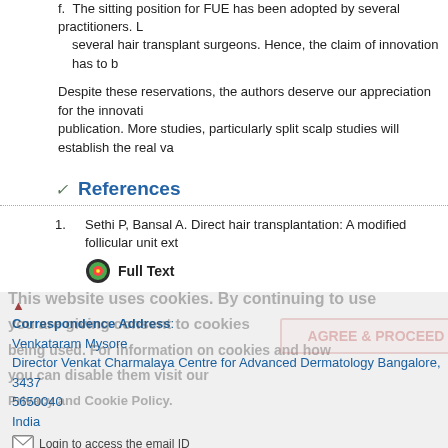f. The sitting position for FUE has been adopted by several practitioners. L several hair transplant surgeons. Hence, the claim of innovation has to b
Despite these reservations, the authors deserve our appreciation for the innovati publication. More studies, particularly split scalp studies will establish the real va
References
1. Sethi P, Bansal A. Direct hair transplantation: A modified follicular unit ext
Full Text
Correspondence Address:
Venkataram Mysore
Director Venkat Charmalaya Centre for Advanced Dermatology Bangalore, 3437 5650040
India
Login to access the email ID
Source of Support: None, Conflict of Interest: None